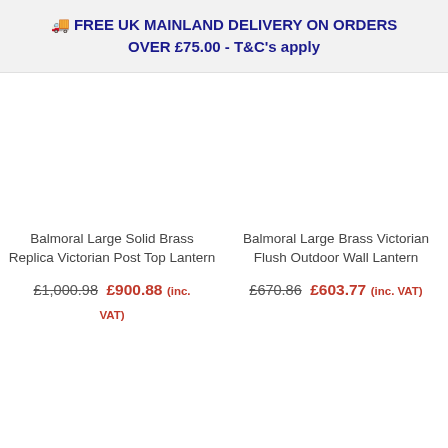🚚 FREE UK MAINLAND DELIVERY ON ORDERS OVER £75.00 - T&C's apply
Balmoral Large Solid Brass Replica Victorian Post Top Lantern
£1,000.98  £900.88 (inc. VAT)
Balmoral Large Brass Victorian Flush Outdoor Wall Lantern
£670.86  £603.77 (inc. VAT)